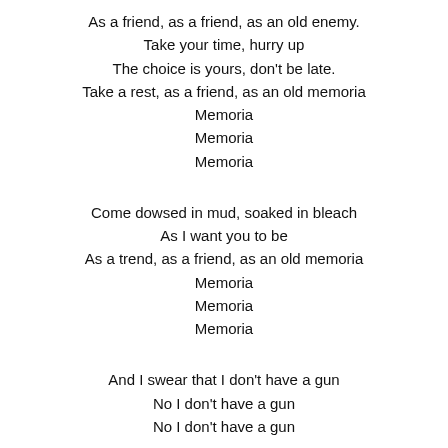As a friend, as a friend, as an old enemy.
Take your time, hurry up
The choice is yours, don't be late.
Take a rest, as a friend, as an old memoria
Memoria
Memoria
Memoria
Come dowsed in mud, soaked in bleach
As I want you to be
As a trend, as a friend, as an old memoria
Memoria
Memoria
Memoria
And I swear that I don't have a gun
No I don't have a gun
No I don't have a gun
Memoria